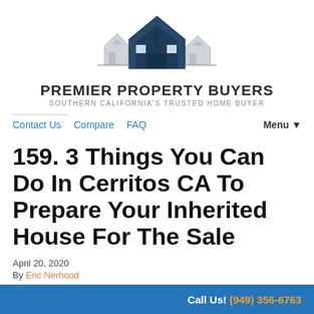[Figure (logo): Premier Property Buyers logo with house silhouettes in dark blue and grey, company name and tagline below]
Contact Us  Compare  FAQ  Menu▼
159. 3 Things You Can Do In Cerritos CA To Prepare Your Inherited House For The Sale
April 20, 2020
By Eric Nerhood
Call Us! (949) 356-6763